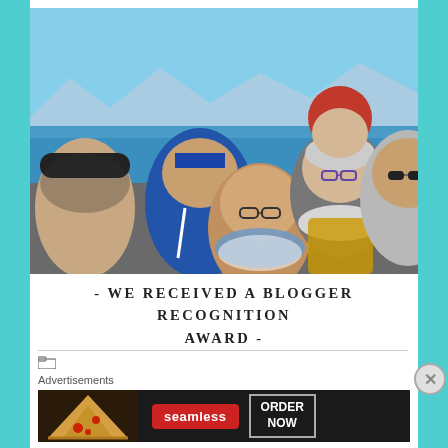[Figure (photo): Group selfie of five people (two men, three women) outdoors near a lake with mountains and blue sky in background. One man wears a black cap, another wears a blue hoodie. Women wear glasses and colorful scarves. Lake Tahoe setting.]
- WE RECEIVED A BLOGGER RECOGNITION AWARD -
[Figure (other): Seamless food delivery advertisement banner showing pizza slices on left, Seamless logo in red center, and 'ORDER NOW' button on right, on dark background.]